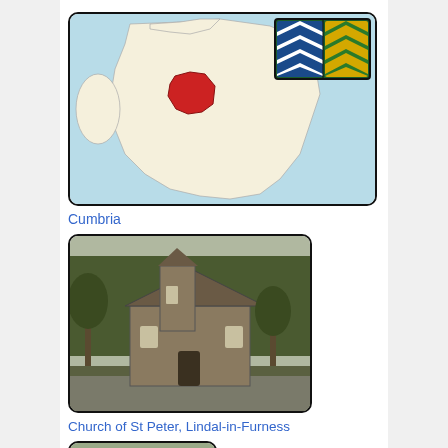[Figure (photo): Map of England with Cumbria highlighted in red, and Cumbria County Council flag (blue/white chevrons and gold/green pattern) in top right corner]
Cumbria
[Figure (photo): Photograph of Church of St Peter, Lindal-in-Furness - a stone church with trees around it]
Church of St Peter, Lindal-in-Furness
[Figure (photo): Photograph of War Memorial in Lindal-in-Furness - outdoor memorial with red post box and trees]
War Memorial, Lindal-in-Furness
[Figure (screenshot): Co-Curate website screenshot showing a yellow folder icon and image gallery thumbnails on black header]
Barrow-in-Furness Borough